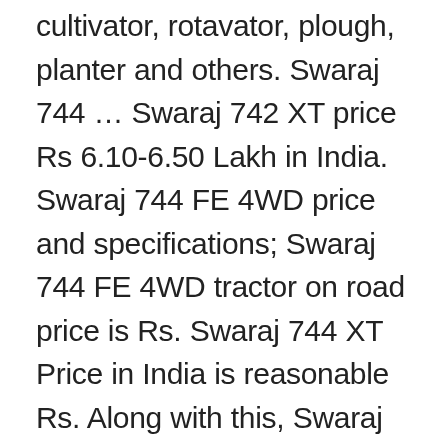cultivator, rotavator, plough, planter and others. Swaraj 744 … Swaraj 742 XT price Rs 6.10-6.50 Lakh in India. Swaraj 744 FE 4WD price and specifications; Swaraj 744 FE 4WD tractor on road price is Rs. Swaraj 744 XT Price in India is reasonable Rs. Along with this, Swaraj 744 XT has a superb kmph forward speed. All Rights Reserved. Swaraj tractor 744 xt has a clutch, which provides smooth and easy functioning. All Prices are indicative it may be vary as per your buying condition and location. Swaraj tractor Customer Service Prices shows above are Ex.Showroom price. Price list of Swaraj 744 FE Tractor in India. You can also check other Swaraj Tractor models. And Swaraj 744 XT has 1700 Kg strong pulling capacity. Swaraj 735 XT